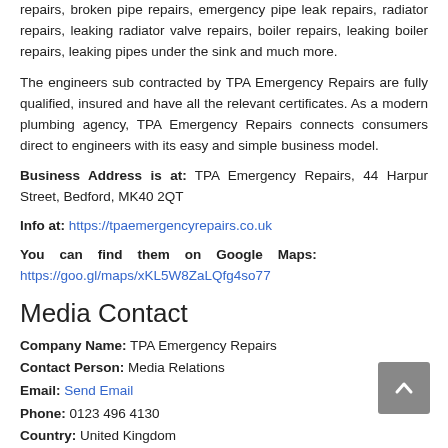repairs, broken pipe repairs, emergency pipe leak repairs, radiator repairs, leaking radiator valve repairs, boiler repairs, leaking boiler repairs, leaking pipes under the sink and much more.
The engineers sub contracted by TPA Emergency Repairs are fully qualified, insured and have all the relevant certificates. As a modern plumbing agency, TPA Emergency Repairs connects consumers direct to engineers with its easy and simple business model.
Business Address is at: TPA Emergency Repairs, 44 Harpur Street, Bedford, MK40 2QT
Info at: https://tpaemergencyrepairs.co.uk
You can find them on Google Maps: https://goo.gl/maps/xKL5W8ZaLQfg4so77
Media Contact
Company Name: TPA Emergency Repairs
Contact Person: Media Relations
Email: Send Email
Phone: 0123 496 4130
Country: United Kingdom
Website: https://tpaemergencyrepairs.co.uk